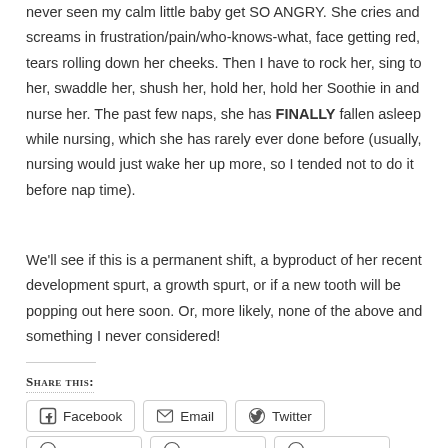never seen my calm little baby get SO ANGRY. She cries and screams in frustration/pain/who-knows-what, face getting red, tears rolling down her cheeks. Then I have to rock her, sing to her, swaddle her, shush her, hold her, hold her Soothie in and nurse her. The past few naps, she has FINALLY fallen asleep while nursing, which she has rarely ever done before (usually, nursing would just wake her up more, so I tended not to do it before nap time).
We'll see if this is a permanent shift, a byproduct of her recent development spurt, a growth spurt, or if a new tooth will be popping out here soon. Or, more likely, none of the above and something I never considered!
Share this:
Facebook  Email  Twitter